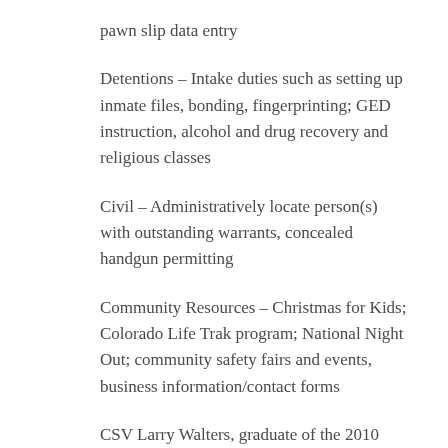pawn slip data entry
Detentions – Intake duties such as setting up inmate files, bonding, fingerprinting; GED instruction, alcohol and drug recovery and religious classes
Civil – Administratively locate person(s) with outstanding warrants, concealed handgun permitting
Community Resources – Christmas for Kids; Colorado Life Trak program; National Night Out; community safety fairs and events, business information/contact forms
CSV Larry Walters, graduate of the 2010 CSV Academy, says, “The camaraderie enjoyed among